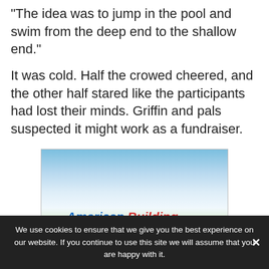The idea was to jump in the pool and swim from the deep end to the shallow end."
It was cold. Half the crowed cheered, and the other half stared like the participants had lost their minds. Griffin and pals suspected it might work as a fundraiser.
[Figure (logo): American Building Services advertisement. Blue sky background with green grass. Logo shows speed lines followed by 'American Building Services' in blue/red italic bold text. Tagline: 'Air Conditioning & Heating Services'. Bottom text: 'THE COMPANY YOU CAN TRUST']
We use cookies to ensure that we give you the best experience on our website. If you continue to use this site we will assume that you are happy with it.